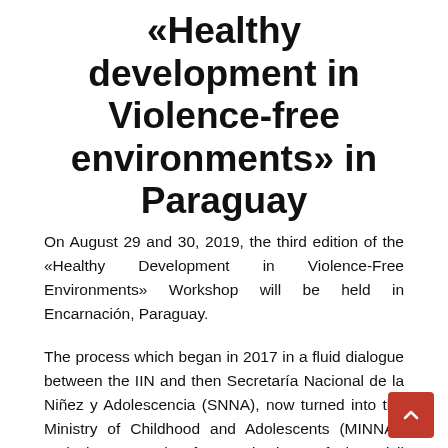«Healthy development in Violence-free environments» in Paraguay
On August 29 and 30, 2019, the third edition of the «Healthy Development in Violence-Free Environments» Workshop will be held in Encarnación, Paraguay.
The process which began in 2017 in a fluid dialogue between the IIN and then Secretaría Nacional de la Niñez y Adolescencia (SNNA), now turned into the Ministry of Childhood and Adolescents (MINNA), and the Network of Organizations of the Civil Society for Early Childhood (RedPI), is reflected in a first workshop in the capital of Paraguay to then begin itinerant and decentralized transit through